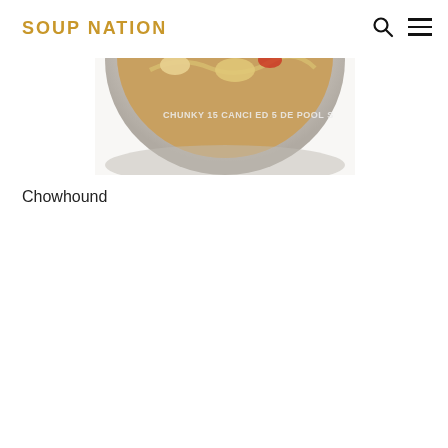SOUP NATION
[Figure (photo): Partial top view of a bowl of soup, circular dish visible from above, with food contents including what appears to be noodles and other ingredients. Text overlay partially visible on the bowl.]
Chowhound